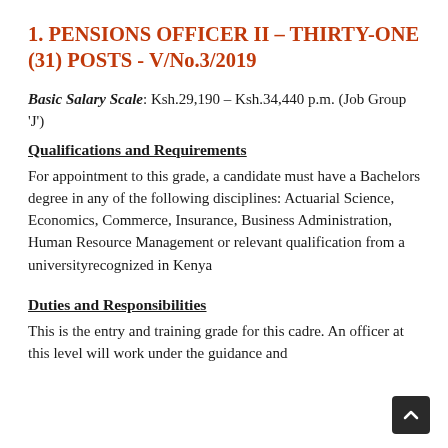1. PENSIONS OFFICER II – THIRTY-ONE (31) POSTS - V/No.3/2019
Basic Salary Scale: Ksh.29,190 – Ksh.34,440 p.m. (Job Group 'J')
Qualifications and Requirements
For appointment to this grade, a candidate must have a Bachelors degree in any of the following disciplines: Actuarial Science, Economics, Commerce, Insurance, Business Administration, Human Resource Management or relevant qualification from a universityrecognized in Kenya
Duties and Responsibilities
This is the entry and training grade for this cadre. An officer at this level will work under the guidance and